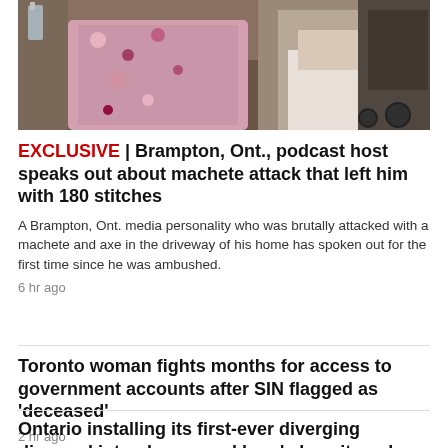[Figure (photo): Photo showing people in a room with colorful floral fabrics, one person appears to be seated in a medical or mobility device]
EXCLUSIVE | Brampton, Ont., podcast host speaks out about machete attack that left him with 180 stitches
A Brampton, Ont. media personality who was brutally attacked with a machete and axe in the driveway of his home has spoken out for the first time since he was ambushed.
6 hr ago
Toronto woman fights months for access to government accounts after SIN flagged as 'deceased'
2 hr ago
Ontario installing its first-ever diverging diamond interchange and here's how it works